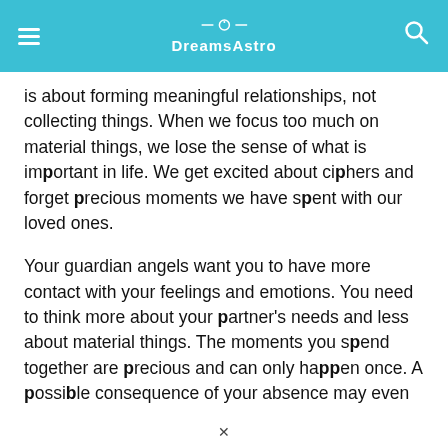DreamsAstro
is about forming meaningful relationships, not collecting things. When we focus too much on material things, we lose the sense of what is important in life. We get excited about ciphers and forget precious moments we have spent with our loved ones.
Your guardian angels want you to have more contact with your feelings and emotions. You need to think more about your partner's needs and less about material things. The moments you spend together are precious and can only happen once. A possible consequence of your absence may even